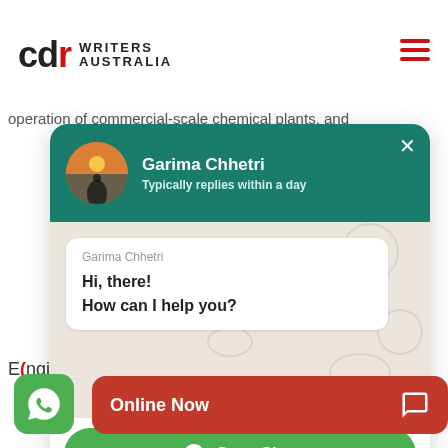[Figure (logo): CDR Writers Australia logo with red CDR text and black WRITERS AUSTRALIA text]
operation of commercial-scale chemical plants, and
[Figure (screenshot): WhatsApp chat popup with Garima Chhetri, showing profile avatar, name, 'Typically replies within a day' status, a chat bubble saying 'Hi, there! How can I help you?', and a green Start Chat button]
E (Engineers Australia)/ AIM
[Figure (illustration): Green WhatsApp floating action button with WhatsApp icon]
[Figure (illustration): Red Online Now bar with chat icon]